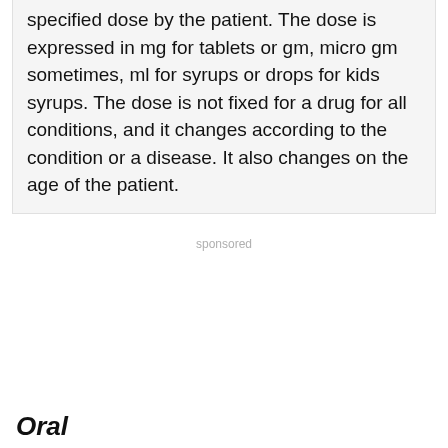specified dose by the patient. The dose is expressed in mg for tablets or gm, micro gm sometimes, ml for syrups or drops for kids syrups. The dose is not fixed for a drug for all conditions, and it changes according to the condition or a disease. It also changes on the age of the patient.
sponsored
Oral